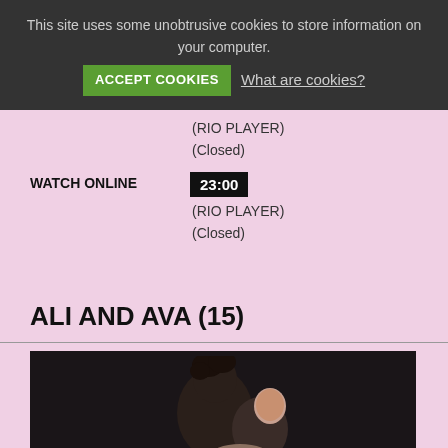This site uses some unobtrusive cookies to store information on your computer.
ACCEPT COOKIES  What are cookies?
(RIO PLAYER)
(Closed)
WATCH ONLINE  23:00  (RIO PLAYER)  (Closed)
ALI AND AVA (15)
[Figure (photo): A man and woman sitting together on a couch against a dark background. The man has curly dark hair and a beard, and the woman leans against him.]